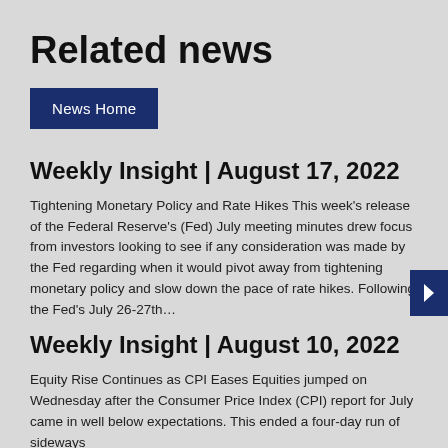Related news
News Home
Weekly Insight | August 17, 2022
Tightening Monetary Policy and Rate Hikes This week's release of the Federal Reserve's (Fed) July meeting minutes drew focus from investors looking to see if any consideration was made by the Fed regarding when it would pivot away from tightening monetary policy and slow down the pace of rate hikes. Following the Fed's July 26-27th…
Weekly Insight | August 10, 2022
Equity Rise Continues as CPI Eases Equities jumped on Wednesday after the Consumer Price Index (CPI) report for July came in well below expectations. This ended a four-day run of sideways